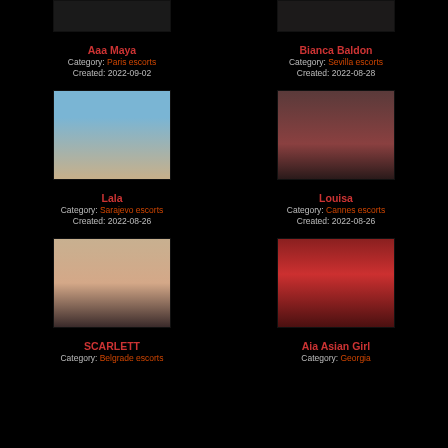[Figure (photo): Partial photo of Aaa Maya (top cropped)]
[Figure (photo): Partial photo of Bianca Baldon (top cropped)]
Aaa Maya
Category: Paris escorts
Created: 2022-09-02
Bianca Baldon
Category: Sevilla escorts
Created: 2022-08-28
[Figure (photo): Photo of Lala at beach]
[Figure (photo): Photo of Louisa in red dress]
Lala
Category: Sarajevo escorts
Created: 2022-08-26
Louisa
Category: Cannes escorts
Created: 2022-08-26
[Figure (photo): Photo of SCARLETT]
[Figure (photo): Photo of Aia Asian Girl in red]
SCARLETT
Category: Belgrade escorts
Aia Asian Girl
Category: Georgia